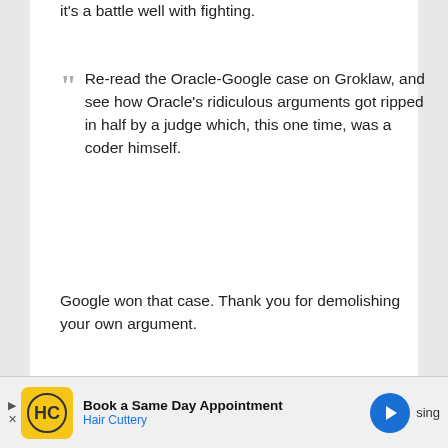it's a battle well with fighting.
Re-read the Oracle-Google case on Groklaw, and see how Oracle's ridiculous arguments got ripped in half by a judge which, this one time, was a coder himself.
Google won that case. Thank you for demolishing your own argument.
This is bad, this is stupid, and you should feel ashamed of yourself for trying to defend it.
[Figure (infographic): Advertisement bar for Hair Cuttery: Book a Same Day Appointment]